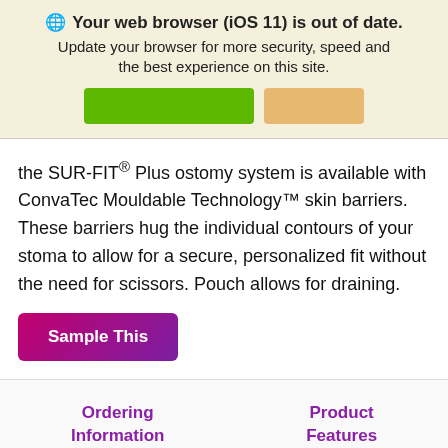🌐 Your web browser (iOS 11) is out of date. Update your browser for more security, speed and the best experience on this site.
[Figure (other): Two buttons: a green button and a tan/beige button in the browser update banner]
the SUR-FIT® Plus ostomy system is available with ConvaTec Mouldable Technology™ skin barriers. These barriers hug the individual contours of your stoma to allow for a secure, personalized fit without the need for scissors. Pouch allows for draining.
Sample This
Ordering Information
Product Features
Code